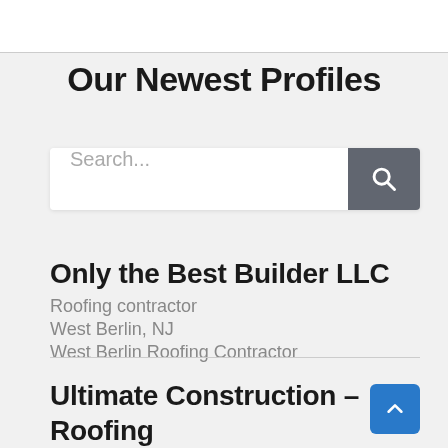Our Newest Profiles
[Figure (screenshot): Search input bar with placeholder text 'Search...' and a dark grey search button with magnifying glass icon]
Only the Best Builder LLC
Roofing contractor
West Berlin, NJ
West Berlin Roofing Contractor
Ultimate Construction – Roofing